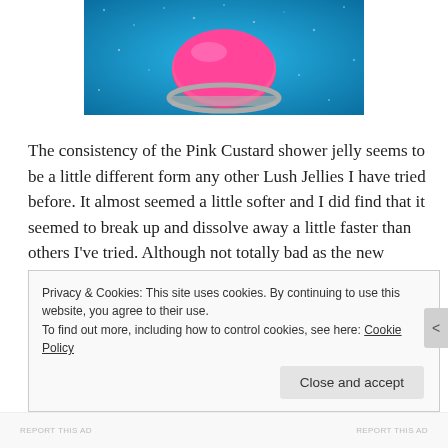[Figure (photo): Close-up photo of a pink circular shower jelly product in a small clear container, sitting on a blue glittery background. The product is a vivid hot pink color.]
The consistency of the Pink Custard shower jelly seems to be a little different form any other Lush Jellies I have tried before. It almost seemed a little softer and I did find that it seemed to break up and dissolve away a little faster than others I've tried. Although not totally bad as the new consultancy seems to give a lot richer lather making it much more luxurious.
Privacy & Cookies: This site uses cookies. By continuing to use this website, you agree to their use.
To find out more, including how to control cookies, see here: Cookie Policy
Close and accept